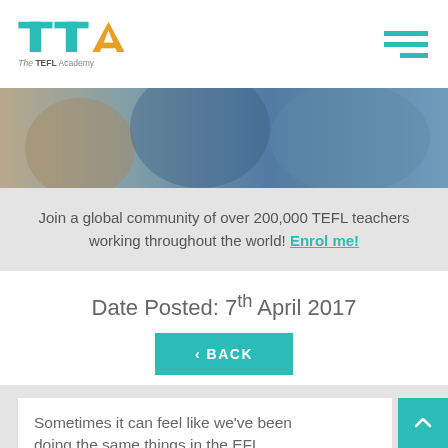The TEFL Academy
[Figure (photo): Classroom scene with students and teacher, blurred/cropped hero image]
Join a global community of over 200,000 TEFL teachers working throughout the world! Enrol me!
Date Posted: 7th April 2017
< BACK
Sometimes it can feel like we've been doing the same things in the EFL classroom for a really long time. S...